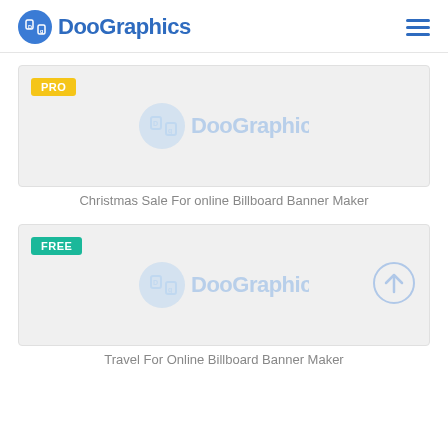[Figure (logo): DooGraphics logo with circular 'Dg' icon and blue text 'DooGraphics']
[Figure (screenshot): PRO badge card with DooGraphics watermark on grey background]
Christmas Sale For online Billboard Banner Maker
[Figure (screenshot): FREE badge card with DooGraphics watermark and upload arrow icon on grey background]
Travel For Online Billboard Banner Maker